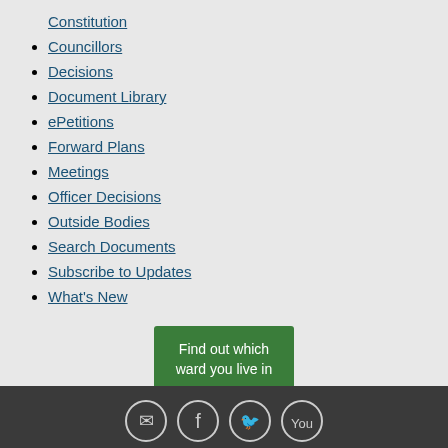Constitution
Councillors
Decisions
Document Library
ePetitions
Forward Plans
Meetings
Officer Decisions
Outside Bodies
Search Documents
Subscribe to Updates
What's New
Find out which ward you live in
[Figure (other): Footer bar with four social media icons: email, Facebook, Twitter, YouTube]